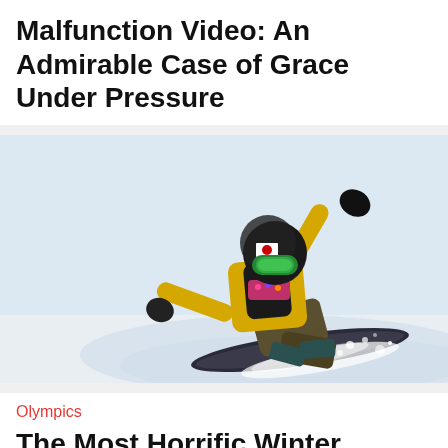Malfunction Video: An Admirable Case of Grace Under Pressure
[Figure (photo): A snowboarder in a yellow jacket and black helmet with green goggles sliding on snow, arm raised, wearing a colorful scarf, at what appears to be an Olympic event]
Olympics
The Most Horrific Winter Olympics Deaths of All Time